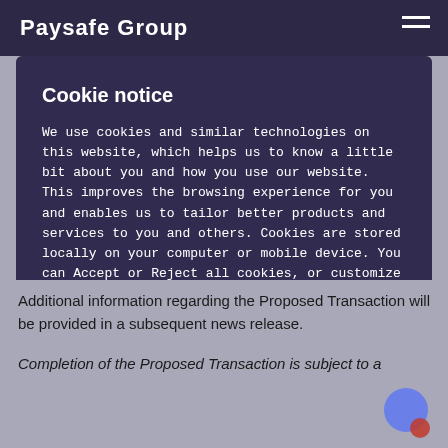Paysafe Group
Cookie notice
We use cookies and similar technologies on this website, which helps us to know a little bit about you and how you use our website. This improves the browsing experience for you and enables us to tailor better products and services to you and others. Cookies are stored locally on your computer or mobile device. You can Accept or Reject all cookies, or customize your choices using "Cookie settings".
Reject All
Accept All Cookies
Cookies Settings
Additional information regarding the Proposed Transaction will be provided in a subsequent news release.
Completion of the Proposed Transaction is subject to a